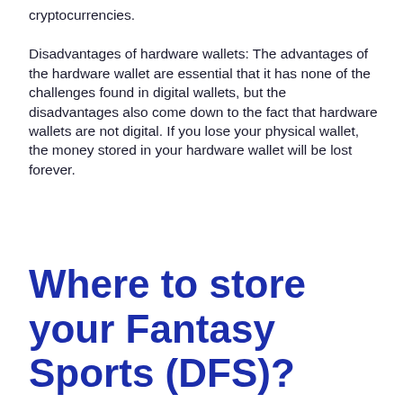cryptocurrencies.
Disadvantages of hardware wallets: The advantages of the hardware wallet are essential that it has none of the challenges found in digital wallets, but the disadvantages also come down to the fact that hardware wallets are not digital. If you lose your physical wallet, the money stored in your hardware wallet will be lost forever.
Where to store your Fantasy Sports (DFS)?